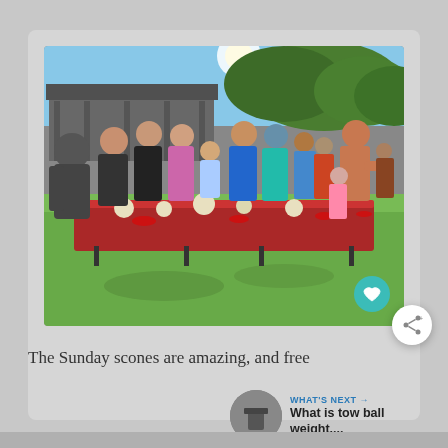[Figure (photo): Outdoor photo of a group of people — children and adults — standing around a long table covered with a red tablecloth on a grassy lawn, with food items on the table, a shed/shelter in the background and trees, sunny day.]
The Sunday scones are amazing, and free
WHAT'S NEXT → What is tow ball weight,...